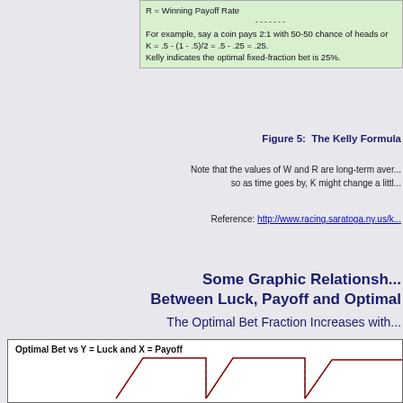R = Winning Payoff Rate
-------
For example, say a coin pays 2:1 with 50-50 chance of heads or tails.
K = .5 - (1 - .5)/2 = .5 - .25 = .25.
Kelly indicates the optimal fixed-fraction bet is 25%.
Figure 5:  The Kelly Formula
Note that the values of W and R are long-term averages so as time goes by, K might change a little.
Reference: http://www.racing.saratoga.ny.us/k...
Some Graphic Relationships Between Luck, Payoff and Optimal...
The Optimal Bet Fraction Increases with...
[Figure (other): Chart titled 'Optimal Bet vs Y = Luck and X = Payoff' showing trapezoid/triangular shapes in dark red on white background with dashed vertical lines]